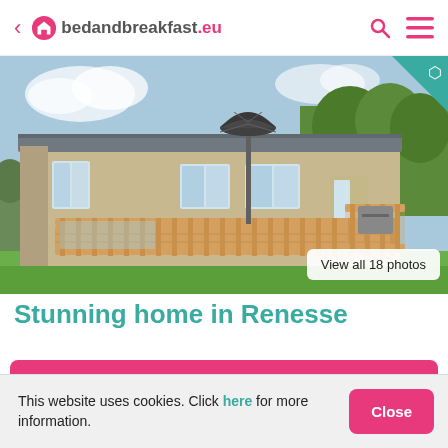< bedandbreakfast.eu
[Figure (photo): Exterior photo of a mobile/holiday home with a wooden deck/terrace and a closed patio umbrella, green hedge in background, blue sky with clouds]
View all 18 photos
Stunning home in Renesse
SELECT DATES FOR PRICES
This website uses cookies. Click here for more information.